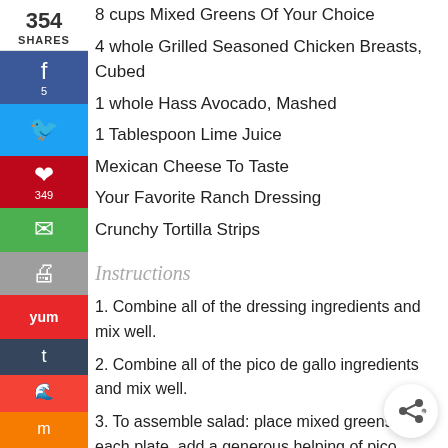354 SHARES
8 cups Mixed Greens Of Your Choice
4 whole Grilled Seasoned Chicken Breasts, Cubed
1 whole Hass Avocado, Mashed
1 Tablespoon Lime Juice
Mexican Cheese To Taste
Your Favorite Ranch Dressing
Crunchy Tortilla Strips
Instructions
1. Combine all of the dressing ingredients and mix well.
2. Combine all of the pico de gallo ingredients and mix well.
3. To assemble salad: place mixed greens on each plate, add a generous helping of pico, some grilled chicken cubes and cheese. Add a dollop of